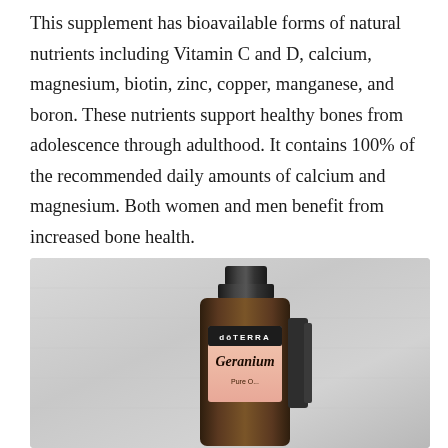This supplement has bioavailable forms of natural nutrients including Vitamin C and D, calcium, magnesium, biotin, zinc, copper, manganese, and boron. These nutrients support healthy bones from adolescence through adulthood. It contains 100% of the recommended daily amounts of calcium and magnesium. Both women and men benefit from increased bone health.
[Figure (photo): A doTERRA Geranium essential oil small amber bottle with black cap and ribbed dropper attachment, photographed on a light gray brushed metal background.]